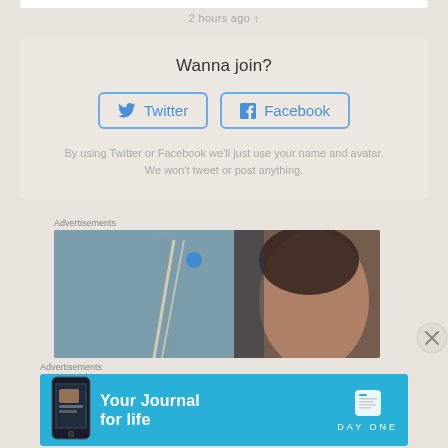2 hours ago ↑
Wanna join?
[Figure (screenshot): Twitter login button with bird icon, blue border and text]
[Figure (screenshot): Facebook login button with f icon, blue border and text]
By using Twitter or Facebook we'll just use your name and avatar. We won't tweet or post anything.
Advertisements
[Figure (photo): Advertisement photo showing a person's face and what appears to be food or objects]
[Figure (other): Close (X) button circle]
Advertisements
[Figure (screenshot): Day One app advertisement banner: 'Your Journal for life' with Day One logo on blue background]